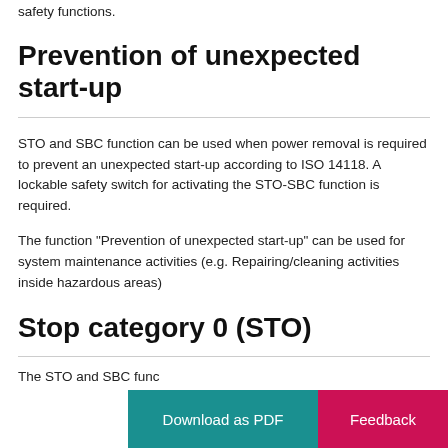safety functions.
Prevention of unexpected start-up
STO and SBC function can be used when power removal is required to prevent an unexpected start-up according to ISO 14118. A lockable safety switch for activating the STO-SBC function is required.
The function “Prevention of unexpected start-up” can be used for system maintenance activities (e.g. Repairing/cleaning activities inside hazardous areas)
Stop category 0 (STO)
The STO and SBC fund…